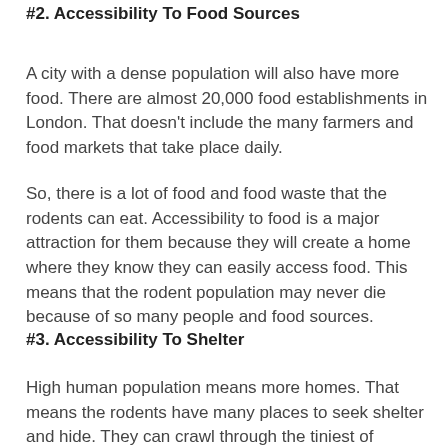#2. Accessibility To Food Sources
A city with a dense population will also have more food. There are almost 20,000 food establishments in London. That doesn't include the many farmers and food markets that take place daily.
So, there is a lot of food and food waste that the rodents can eat. Accessibility to food is a major attraction for them because they will create a home where they know they can easily access food. This means that the rodent population may never die because of so many people and food sources.
#3. Accessibility To Shelter
High human population means more homes. That means the rodents have many places to seek shelter and hide. They can crawl through the tiniest of spaces, and you will not even know they are living under your floors, walls, and other places